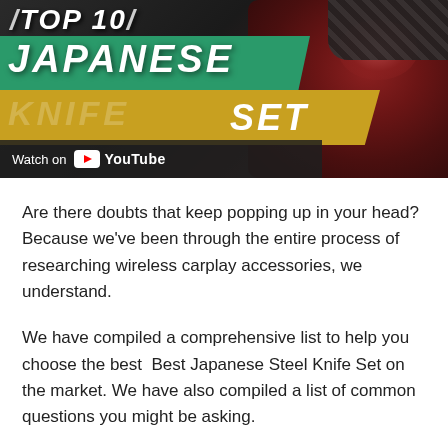[Figure (screenshot): YouTube video thumbnail for 'Top 10 Japanese Knife Set' showing bold text overlaid on an image of raw meat/steak with a knife handle visible, with a 'Watch on YouTube' overlay bar at the bottom left.]
Are there doubts that keep popping up in your head? Because we've been through the entire process of researching wireless carplay accessories, we understand.
We have compiled a comprehensive list to help you choose the best  Best Japanese Steel Knife Set on the market. We have also compiled a list of common questions you might be asking.